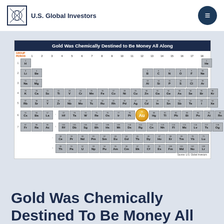U.S. Global Investors
[Figure (other): Periodic table of elements with Gold (Au, element 79) highlighted in orange/gold color, titled 'Gold Was Chemically Destined to Be Money All Along'. Source: U.S. Global Investors.]
Gold Was Chemically Destined To Be Money All